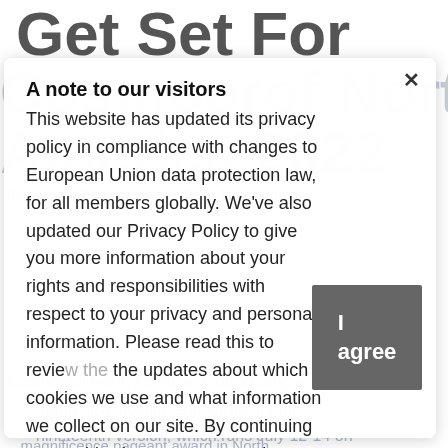Get Set For
Cosmoprof North America 2022
June 29, 2022 by benzinedhiaeddineoriginal
A note to our visitors
This website has updated its privacy policy in compliance with changes to European Union data protection law, for all members globally. We've also updated our Privacy Policy to give you more information about your rights and responsibilities with respect to your privacy and personal information. Please read this to review the updates about which cookies we use and what information we collect on our site. By continuing to use this site, you are agreeing to our updated privacy policy.
I agree
Cosmoprof North America is introducing a brand new location and format for the nineteenth version, which runs July 12-14 on the newly renovated Las Vegas Conference Middle. The most important and largest B2B magnificence pageant award in North America will happen on Tuesday, July twelfth, 10 a.m. – 6 p.m.; Wednesday July thirteenth,